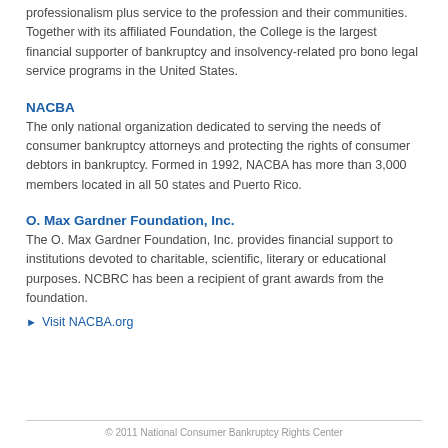professionalism plus service to the profession and their communities.  Together with its affiliated Foundation, the College is the largest financial supporter of bankruptcy and insolvency-related pro bono legal service programs in the United States.
NACBA
The only national organization dedicated to serving the needs of consumer bankruptcy attorneys and protecting the rights of consumer debtors in bankruptcy. Formed in 1992, NACBA has more than 3,000 members located in all 50 states and Puerto Rico.
O. Max Gardner Foundation, Inc.
The O. Max Gardner Foundation, Inc. provides financial support to institutions devoted to charitable, scientific, literary or educational purposes.  NCBRC has been a recipient of grant awards from the foundation.
Visit NACBA.org
© 2011 National Consumer Bankruptcy Rights Center